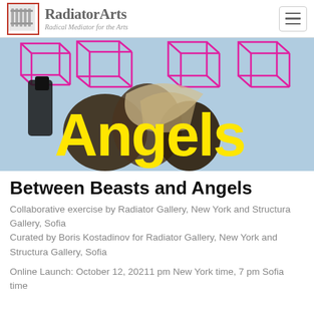RadiatorArts — Radical Mediator for the Arts
[Figure (photo): Hero banner image for 'Between Beasts and Angels' exhibition. Shows sculptural figures against a blue sky background with overlaid text 'Angels' in large yellow bold type and '3D' geometric outlined letters in magenta/pink. The figures appear to be animal/angel sculptures.]
Between Beasts and Angels
Collaborative exercise by Radiator Gallery, New York and Structura Gallery, Sofia
Curated by Boris Kostadinov for Radiator Gallery, New York and Structura Gallery, Sofia
Online Launch: October 12, 20211 pm New York time, 7 pm Sofia time